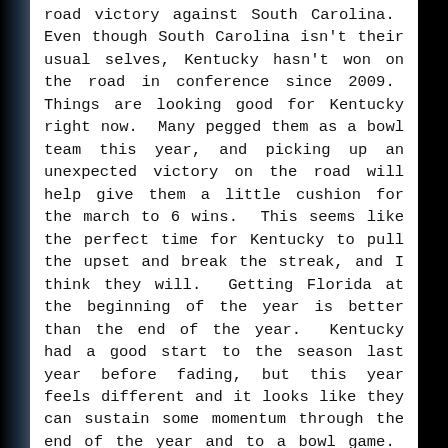road victory against South Carolina.  Even though South Carolina isn't their usual selves, Kentucky hasn't won on the road in conference since 2009.  Things are looking good for Kentucky right now.  Many pegged them as a bowl team this year, and picking up an unexpected victory on the road will help give them a little cushion for the march to 6 wins.  This seems like the perfect time for Kentucky to pull the upset and break the streak, and I think they will.  Getting Florida at the beginning of the year is better than the end of the year.  Kentucky had a good start to the season last year before fading, but this year feels different and it looks like they can sustain some momentum through the end of the year and to a bowl game.  PICK: Kentucky 27, Florida 24
[/vc_column_text][/vc_column][/vc_row][vc_row][vc_column width="1/1"][vc_text_separator title="Saturday, September 19, 8:00 PM ET"